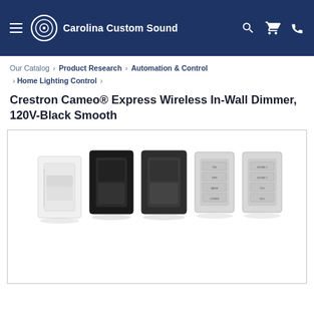Carolina Custom Sound
Our Catalog › Product Research › Automation & Control › Home Lighting Control ›
Crestron Cameo® Express Wireless In-Wall Dimmer, 120V-Black Smooth
[Figure (photo): Five wall dimmer/switch products in a row: white smooth dimmer, black rocker switch, dark gray rocker switch, light gray multi-button keypad, and light gray 4-button keypad with preset labels.]